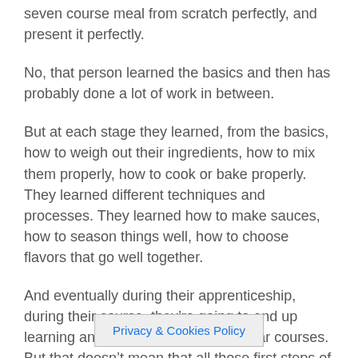seven course meal from scratch perfectly, and present it perfectly.
No, that person learned the basics and then has probably done a lot of work in between.
But at each stage they learned, from the basics, how to weigh out their ingredients, how to mix them properly, how to cook or bake properly. They learned different techniques and processes. They learned how to make sauces, how to season things well, how to choose flavors that go well together.
And eventually during their apprenticeship, during their course, they’re going to end up learning and making some spectacular courses. But that doesn’t mean that all those first steps of how to prep, how to choose ingredients, how to make simple bakes and so on, weren’t a… pler.
Privacy & Cookies Policy